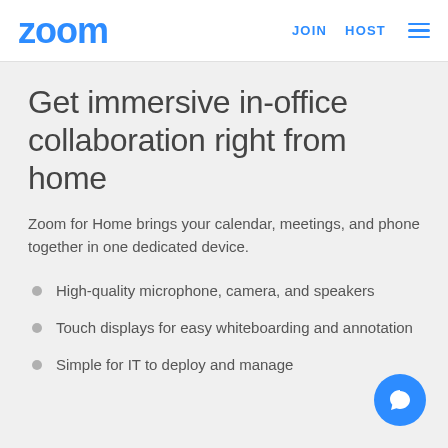zoom | JOIN HOST ≡
Get immersive in-office collaboration right from home
Zoom for Home brings your calendar, meetings, and phone together in one dedicated device.
High-quality microphone, camera, and speakers
Touch displays for easy whiteboarding and annotation
Simple for IT to deploy and manage
[Figure (illustration): Blue circular chat/support button with speech bubble icon in bottom-right corner]